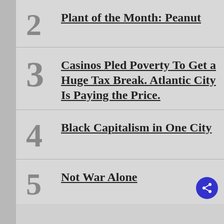2 Plant of the Month: Peanut
3 Casinos Pled Poverty To Get a Huge Tax Break. Atlantic City Is Paying the Price.
4 Black Capitalism in One City
5 Not War Alone